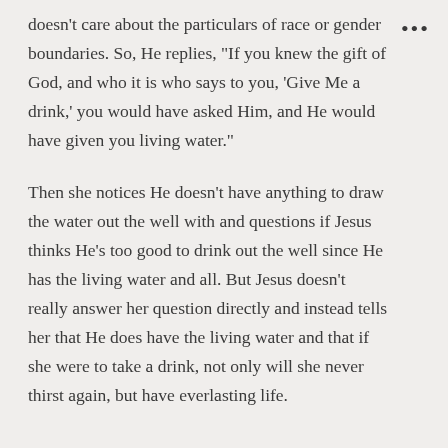doesn't care about the particulars of race or gender boundaries. So, He replies, "If you knew the gift of God, and who it is who says to you, 'Give Me a drink,' you would have asked Him, and He would have given you living water."
Then she notices He doesn't have anything to draw the water out the well with and questions if Jesus thinks He's too good to drink out the well since He has the living water and all. But Jesus doesn't really answer her question directly and instead tells her that He does have the living water and that if she were to take a drink, not only will she never thirst again, but have everlasting life.